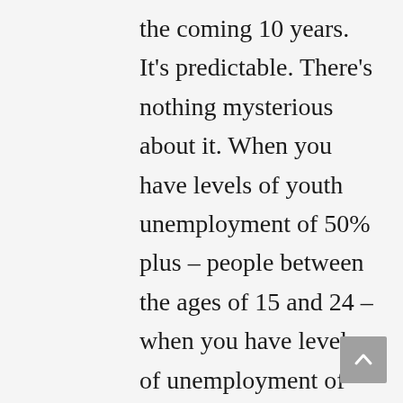the coming 10 years. It's predictable. There's nothing mysterious about it. When you have levels of youth unemployment of 50% plus – people between the ages of 15 and 24 – when you have levels of unemployment of 30 to 40, when you have a level of poverty of 50% of your population, you know this is a powder keg that's gonna explode. There was absolutely nothing unpredictable about the explosion that happened last week.